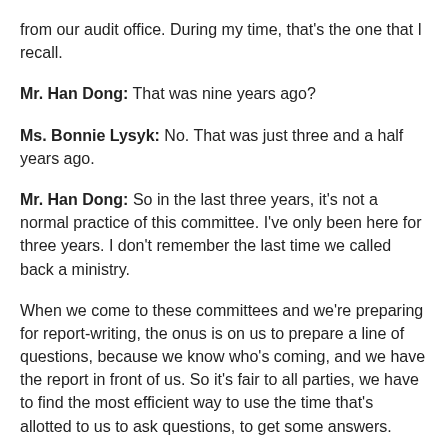from our audit office. During my time, that's the one that I recall.
Mr. Han Dong: That was nine years ago?
Ms. Bonnie Lysyk: No. That was just three and a half years ago.
Mr. Han Dong: So in the last three years, it's not a normal practice of this committee. I've only been here for three years. I don't remember the last time we called back a ministry.
When we come to these committees and we're preparing for report-writing, the onus is on us to prepare a line of questions, because we know who's coming, and we have the report in front of us. So it's fair to all parties, we have to find the most efficient way to use the time that's allotted to us to ask questions, to get some answers.
This time, my friend from the Conservative caucus is asking